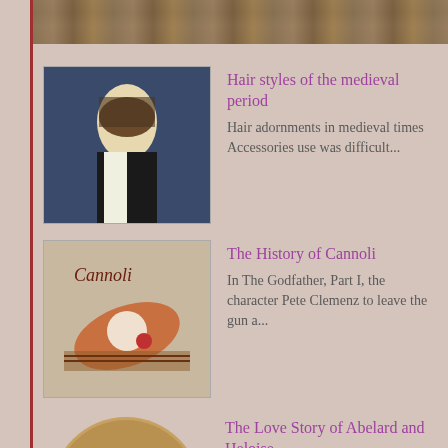[Figure (photo): Top banner image showing a decorative painting or tapestry with muted brown and golden tones]
[Figure (photo): Portrait of a medieval woman in dark and white clothing]
Hair styles of the medieval period
Hair adornments in medieval times  Accessories use was difficult...
[Figure (photo): Image of cannoli pastry with the word Cannoli written on it]
The History of Cannoli
In The Godfather, Part I, the character Pete Clemenz to leave the gun a...
[Figure (photo): Circular image depicting a medieval love scene with figures in period costume]
The Love Story of Abelard and Heloise
The love story of Abelard and Heliose has endured a tale of a French p...
[Figure (photo): Vintage advertisement image showing women in Victorian-era clothing with text Bouquets Cigars]
Women and Pants
Women Wearing Pants Author gholea In the Western dresses and ...